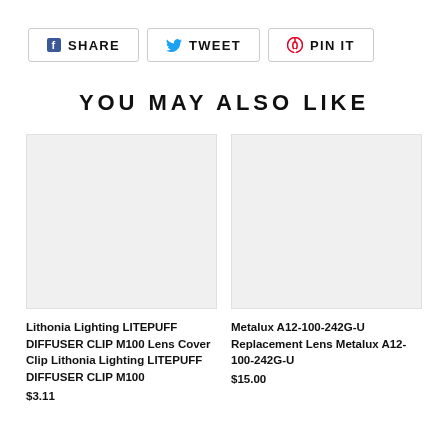SHARE  TWEET  PIN IT
YOU MAY ALSO LIKE
[Figure (photo): Product image placeholder for Lithonia Lighting LITEPUFF DIFFUSER CLIP M100 Lens Cover Clip]
Lithonia Lighting LITEPUFF DIFFUSER CLIP M100 Lens Cover Clip Lithonia Lighting LITEPUFF DIFFUSER CLIP M100
$3.11
[Figure (photo): Product image placeholder for Metalux A12-100-242G-U Replacement Lens]
Metalux A12-100-242G-U Replacement Lens Metalux A12-100-242G-U
$15.00